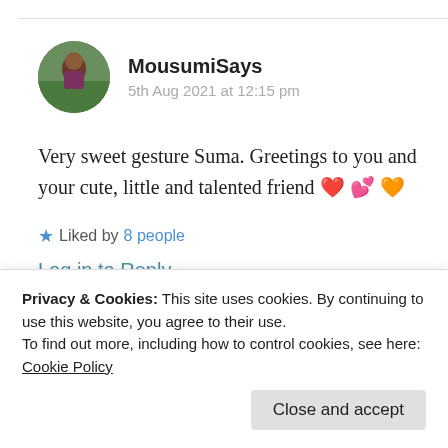[Figure (photo): Circular avatar photo of a person outdoors]
MousumiSays
5th Aug 2021 at 12:15 pm
Very sweet gesture Suma. Greetings to you and your cute, little and talented friend ❤ 💕 🧡
Liked by 8 people
Log in to Reply
That means a lot dear Mousumi. So
Privacy & Cookies: This site uses cookies. By continuing to use this website, you agree to their use.
To find out more, including how to control cookies, see here: Cookie Policy